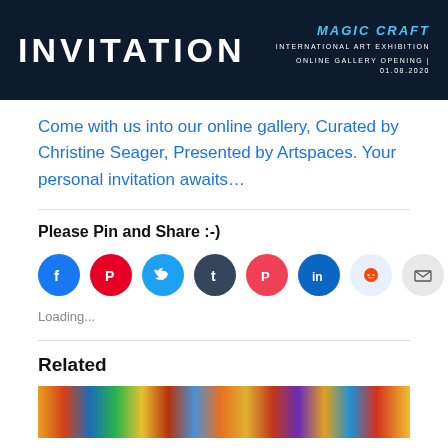[Figure (illustration): Dark navy banner with INVITATION text on left in white bold uppercase, and on the right: 'MAGIC CRAFT' in blue italic text, 'INTERNATIONAL ART EXHIBITION' and 'ONLINE GALLERY OPENING | 01.08.2020' in white small caps]
Come with us into our online gallery, Curated by Christine Seager, Presented by Artspaces. Your personal invitation awaits…
Please Pin and Share :-)
[Figure (infographic): Row of social share icon circles: Facebook (blue), Pinterest (red), Twitter (light blue), Tumblr (dark navy), Pocket (red/pink), LinkedIn (blue), Reddit (light blue/white), Email (light grey), Print (light grey)]
Loading...
Related
[Figure (photo): Colorful horizontal strip of related article thumbnail images]